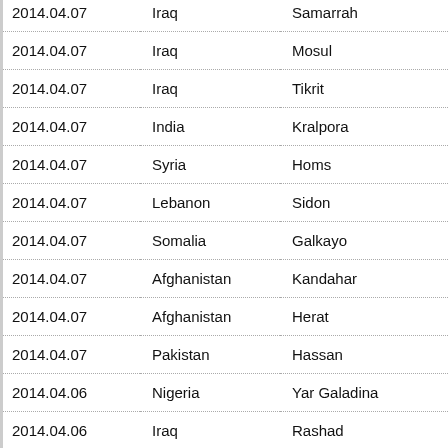| Date | Country | City |
| --- | --- | --- |
| 2014.04.07 | Iraq | Samarrah |
| 2014.04.07 | Iraq | Mosul |
| 2014.04.07 | Iraq | Tikrit |
| 2014.04.07 | India | Kralpora |
| 2014.04.07 | Syria | Homs |
| 2014.04.07 | Lebanon | Sidon |
| 2014.04.07 | Somalia | Galkayo |
| 2014.04.07 | Afghanistan | Kandahar |
| 2014.04.07 | Afghanistan | Herat |
| 2014.04.07 | Pakistan | Hassan |
| 2014.04.06 | Nigeria | Yar Galadina |
| 2014.04.06 | Iraq | Rashad |
| 2014.04.06 | Thailand | Yala |
| 2014.04.06 | Iraq | Latifiyah |